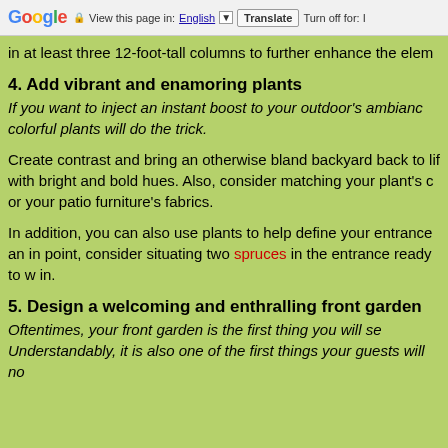Google  View this page in: English [▼]  Translate  Turn off for: I
in at least three 12-foot-tall columns to further enhance the elem
4. Add vibrant and enamoring plants
If you want to inject an instant boost to your outdoor's ambianc colorful plants will do the trick.
Create contrast and bring an otherwise bland backyard back to lif with bright and bold hues. Also, consider matching your plant's c or your patio furniture's fabrics.
In addition, you can also use plants to help define your entrance an in point, consider situating two spruces in the entrance ready to w in.
5. Design a welcoming and enthralling front garden
Oftentimes, your front garden is the first thing you will se Understandably, it is also one of the first things your guests will no